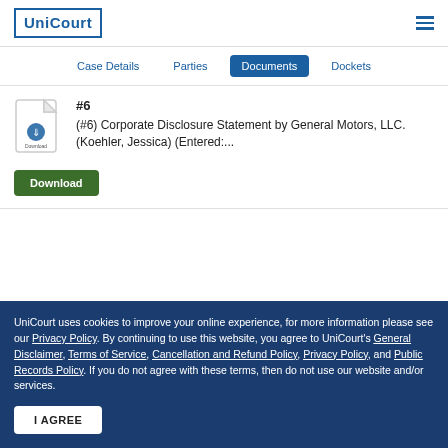UniCourt
Case Details | Parties | Documents | Dockets
#6
(#6) Corporate Disclosure Statement by General Motors, LLC. (Koehler, Jessica) (Entered:...
Download
UniCourt uses cookies to improve your online experience, for more information please see our Privacy Policy. By continuing to use this website, you agree to UniCourt's General Disclaimer, Terms of Service, Cancellation and Refund Policy, Privacy Policy, and Public Records Policy. If you do not agree with these terms, then do not use our website and/or services.
I AGREE